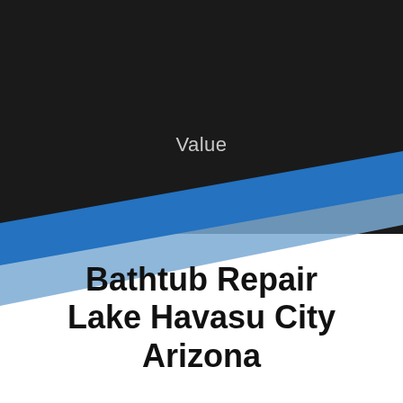Value
Bathtub Repair Lake Havasu City Arizona